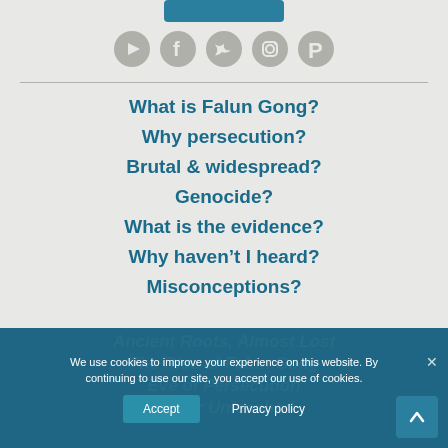[Figure (other): Submit button (teal/dark teal rounded rectangle) at top center]
[Figure (other): Row of five social media icons: YouTube, Facebook, Twitter, Instagram, Pinterest — all in muted gray]
What is Falun Gong?
Why persecution?
Brutal & widespread?
Genocide?
What is the evidence?
Why haven't I heard?
Misconceptions?
THE FALUN GONG STORY
Ancient Roots, Almost Lost
The Rise of Falun Gong
Eve of Persecution
Terror Unleashed
We use cookies to improve your experience on this website. By continuing to use our site, you accept our use of cookies.
Accept  Privacy policy